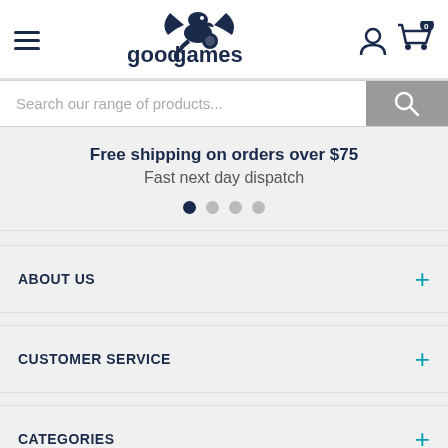[Figure (logo): Good Games logo with dragon mascot and text 'goodgames']
Search our range of products...
Free shipping on orders over $75
Fast next day dispatch
ABOUT US
CUSTOMER SERVICE
CATEGORIES